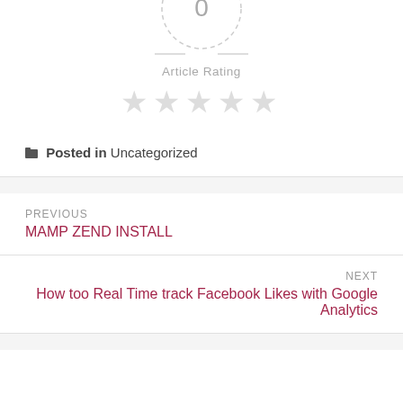[Figure (other): Donut chart partially visible at top, showing a '0' value with dashed circle outline]
Article Rating
[Figure (other): Five empty/light gray star rating icons]
Posted in Uncategorized
PREVIOUS
MAMP ZEND INSTALL
NEXT
How too Real Time track Facebook Likes with Google Analytics